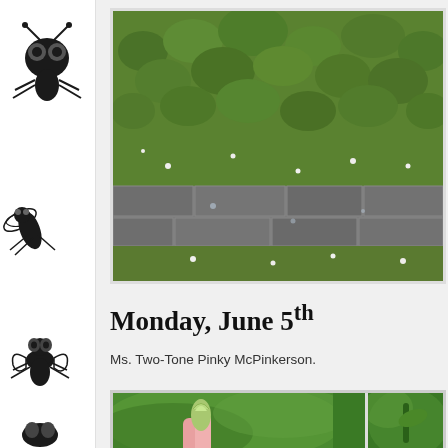[Figure (photo): Photograph of green leafy plants growing over a stone wall or rocky surface, taken from above]
[Figure (illustration): Black silhouette illustrations of flies/insects decorating the left sidebar]
Monday, June 5th
Ms. Two-Tone Pinky McPinkerson.
[Figure (photo): Close-up photograph of a pink flower bud held between fingers, with green blurred background; partial second photo visible on right]